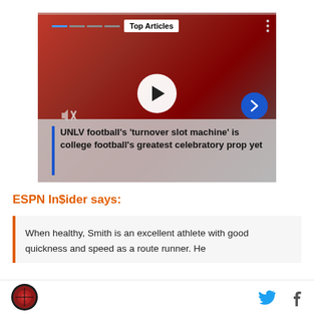[Figure (screenshot): Video player thumbnail showing UNLV football players in red uniforms. Contains Top Articles label, play button overlay, mute icon, navigation arrow, and a caption overlay at bottom reading: UNLV football's 'turnover slot machine' is college football's greatest celebratory prop yet]
ESPN In$ider says:
When healthy, Smith is an excellent athlete with good quickness and speed as a route runner. He